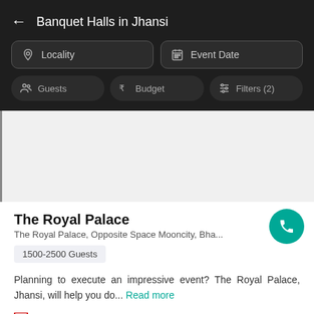Banquet Halls in Jhansi
Locality
Event Date
Guests
Budget
Filters (2)
The Royal Palace
The Royal Palace, Opposite Space Mooncity, Bha...
1500-2500 Guests
Planning to execute an impressive event? The Royal Palace, Jhansi, will help you do... Read more
Non Vegetarian  ₹700/Plate
Vegetarian  ₹500/Plate